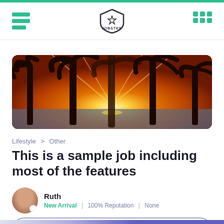[Figure (logo): Jobster logo — shield shape with star, text JOBSTER below]
[Figure (photo): Sunset beach scene with palm tree silhouettes and glowing orange sky over water]
Lifestyle > Other
This is a sample job including most of the features
Ruth
New Arrival | 100% Reputation | None
Contact